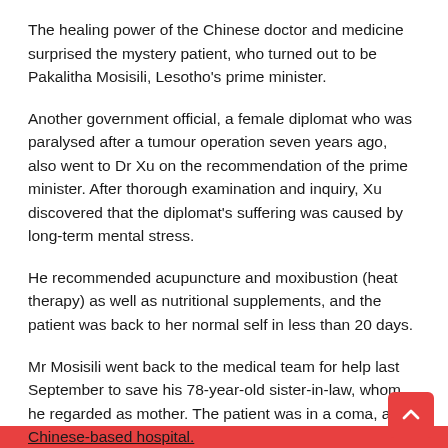The healing power of the Chinese doctor and medicine surprised the mystery patient, who turned out to be Pakalitha Mosisili, Lesotho's prime minister.
Another government official, a female diplomat who was paralysed after a tumour operation seven years ago, also went to Dr Xu on the recommendation of the prime minister. After thorough examination and inquiry, Xu discovered that the diplomat's suffering was caused by long-term mental stress.
He recommended acupuncture and moxibustion (heat therapy) as well as nutritional supplements, and the patient was back to her normal self in less than 20 days.
Mr Mosisili went back to the medical team for help last September to save his 78-year-old sister-in-law, whom he regarded as mother. The patient was in a coma, and with such a serious condition there was great pressure on Dr Xu. The prime minister pinned his last hope on Dr Xu and decided to let his sister-in-law receive treatment at the Chinese-based hospital.